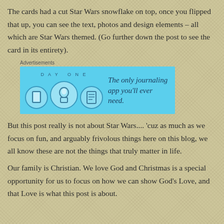The cards had a cut Star Wars snowflake on top, once you flipped that up, you can see the text, photos and design elements – all which are Star Wars themed. (Go further down the post to see the card in its entirety).
[Figure (infographic): Advertisement banner for Day One journaling app with light blue background, showing app icons and text 'The only journaling app you'll ever need.']
But this post really is not about Star Wars.... 'cuz as much as we focus on fun, and arguably frivolous things here on this blog, we all know these are not the things that truly matter in life.
Our family is Christian. We love God and Christmas is a special opportunity for us to focus on how we can show God's Love, and that Love is what this post is about.